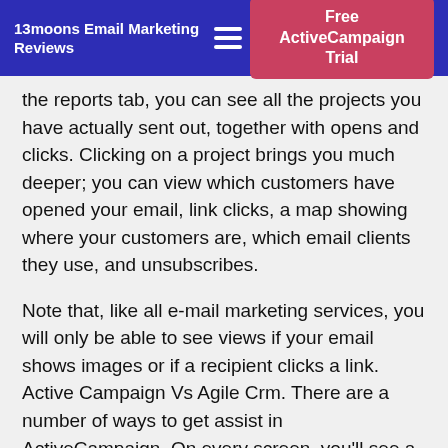13moons Email Marketing Reviews
the reports tab, you can see all the projects you have actually sent out, together with opens and clicks. Clicking on a project brings you much deeper; you can view which customers have opened your email, link clicks, a map showing where your customers are, which email clients they use, and unsubscribes.
Note that, like all e-mail marketing services, you will only be able to see views if your email shows images or if a recipient clicks a link. Active Campaign Vs Agile Crm. There are a number of ways to get assist in ActiveCampaign. On every screen, you’ll see a button with an enigma on it with links to the knowledgebase, training